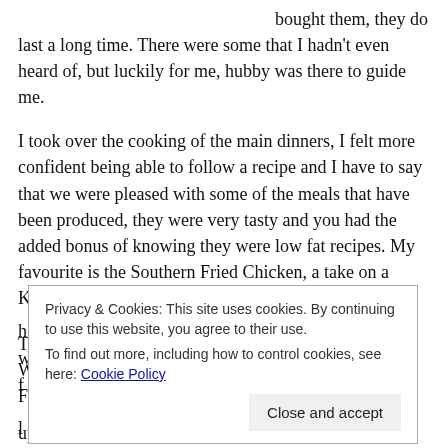bought them, they do last a long time. There were some that I hadn't even heard of, but luckily for me, hubby was there to guide me.
I took over the cooking of the main dinners, I felt more confident being able to follow a recipe and I have to say that we were pleased with some of the meals that have been produced, they were very tasty and you had the added bonus of knowing they were low fat recipes. My favourite is the Southern Fried Chicken, a take on a KFC, which tastes great!
Tom has brought out two books in the same vein, Lose Weight For Good and his newest one, Tom Kerridge's Fresh Start. We
Privacy & Cookies: This site uses cookies. By continuing to use this website, you agree to their use.
To find out more, including how to control cookies, see here: Cookie Policy
Close and accept
up pictures of it stage by stage, just to prove that even